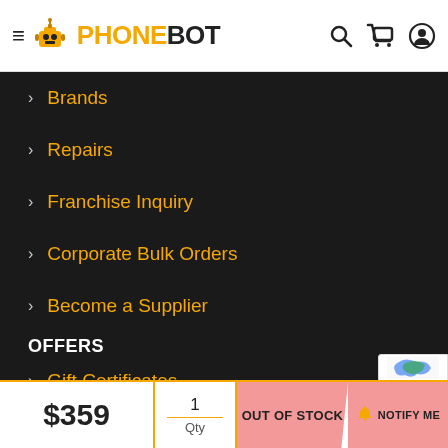PHONEBOT
Brands
Repairs
Franchise Inquiry
Corporate Bulk Orders
Become a Supplier
OFFERS
Gift Certificates
$359
1
Qty
OUT OF STOCK
NOTIFY ME